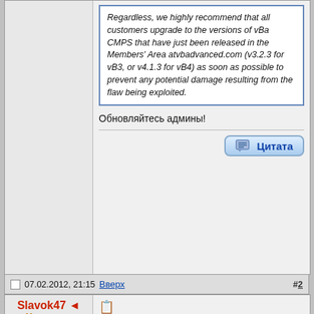Regardless, we highly recommend that all customers upgrade to the versions of vBa CMPS that have just been released in the Members' Area atvbadvanced.com (v3.2.3 for vB3, or v4.1.3 for vB4) as soon as possible to prevent any potential damage resulting from the flaw being exploited.
Обновляйтесь админы!
Цитата
07.02.2012, 21:15  Вверх  #2
Slavok47 Модератор
если register_globals